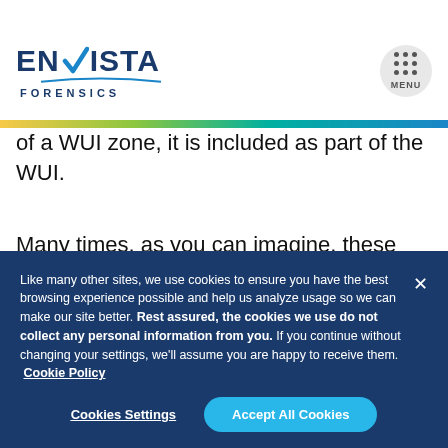[Figure (logo): Envista Forensics logo with blue text and teal checkmark, 'FORENSICS' subtitle with arc underline]
of a WUI zone, it is included as part of the WUI.
Many times, as you can imagine, these areas are more mature and well-developed, with high-value properties. Although to actually be a part of the WUI, the area must
Like many other sites, we use cookies to ensure you have the best browsing experience possible and help us analyze usage so we can make our site better. Rest assured, the cookies we use do not collect any personal information from you. If you continue without changing your settings, we'll assume you are happy to receive them. Cookie Policy
Cookies Settings
Accept All Cookies